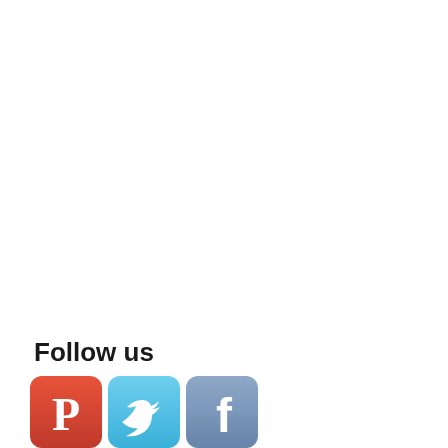Follow us
[Figure (illustration): Three social media icon buttons: Pinterest (red/orange with P icon), Twitter (light blue with bird icon), Facebook (blue-grey with f icon)]